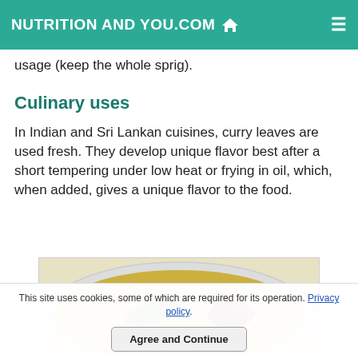NUTRITION AND YOU.COM
usage (keep the whole sprig).
Culinary uses
In Indian and Sri Lankan cuisines, curry leaves are used fresh. They develop unique flavor best after a short tempering under low heat or frying in oil, which, when added, gives a unique flavor to the food.
[Figure (photo): A bowl of curry with curry leaves and a dried red chili pepper in golden-yellow curry sauce, viewed from above.]
This site uses cookies, some of which are required for its operation. Privacy policy. Agree and Continue